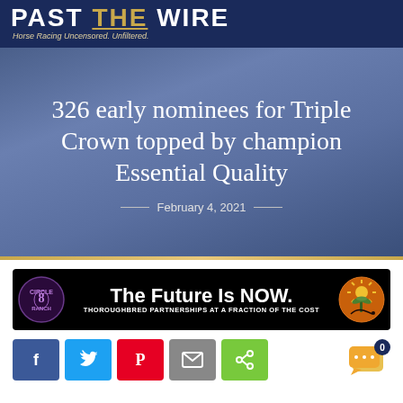PAST THE WIRE — Horse Racing Uncensored. Unfiltered.
326 early nominees for Triple Crown topped by champion Essential Quality
— February 4, 2021 —
[Figure (illustration): Advertisement banner: black background with Circle 8 Ranch logo on left, 'The Future Is NOW.' in large white bold text in center, 'THOROUGHBRED PARTNERSHIPS AT A FRACTION OF THE COST' subtext, and Tropical Racing logo on right]
[Figure (other): Social sharing buttons: Facebook (blue), Twitter (light blue), Pinterest (red), Email (gray), Share (green). Plus a chat widget with badge showing 0.]